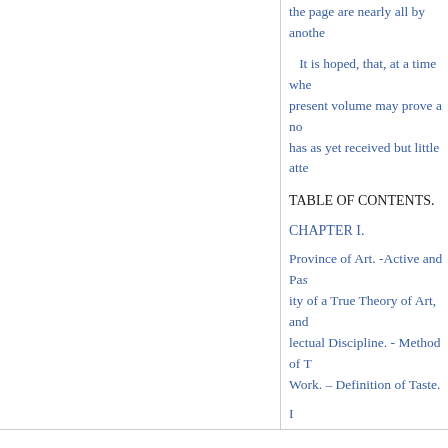the page are nearly all by anothe
It is hoped, that, at a time whe present volume may prove a no has as yet received but little atte
TABLE OF CONTENTS.
CHAPTER I.
Province of Art. -Active and Pas ity of a True Theory of Art, and lectual Discipline. - Method of T Work. – Definition of Taste.
I
CHAPTER II.
THE BEAUTIFUL.
-